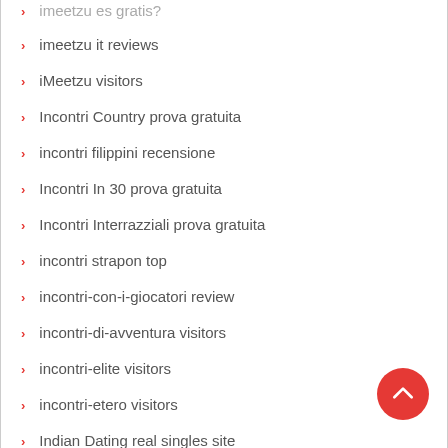imeetzu es gratis?
imeetzu it reviews
iMeetzu visitors
Incontri Country prova gratuita
incontri filippini recensione
Incontri In 30 prova gratuita
Incontri Interrazziali prova gratuita
incontri strapon top
incontri-con-i-giocatori review
incontri-di-avventura visitors
incontri-elite visitors
incontri-etero visitors
Indian Dating real singles site
Indian Dating voglio la revisione dell'app
Indiana online payday loans
Indiana payday loans near me